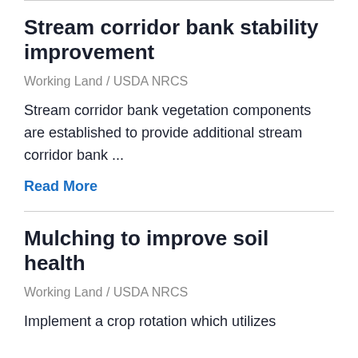Stream corridor bank stability improvement
Working Land / USDA NRCS
Stream corridor bank vegetation components are established to provide additional stream corridor bank ...
Read More
Mulching to improve soil health
Working Land / USDA NRCS
Implement a crop rotation which utilizes